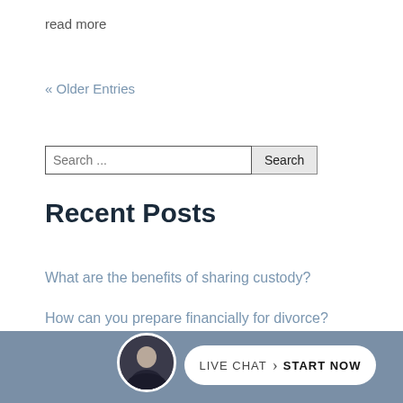read more
« Older Entries
[Figure (other): Search bar with text field showing 'Search ...' and a Search button]
Recent Posts
What are the benefits of sharing custody?
How can you prepare financially for divorce?
Collaborative divorce vs. mediation
LIVE CHAT START NOW